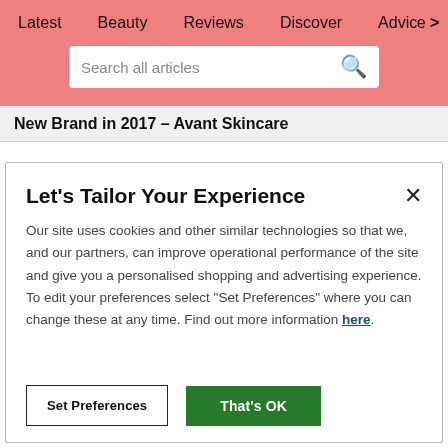Latest   Beauty   Reviews   Discover   Advice >
Search all articles
New Brand in 2017 – Avant Skincare
Let's Tailor Your Experience
Our site uses cookies and other similar technologies so that we, and our partners, can improve operational performance of the site and give you a personalised shopping and advertising experience. To edit your preferences select "Set Preferences" where you can change these at any time. Find out more information here.
Set Preferences   That's OK